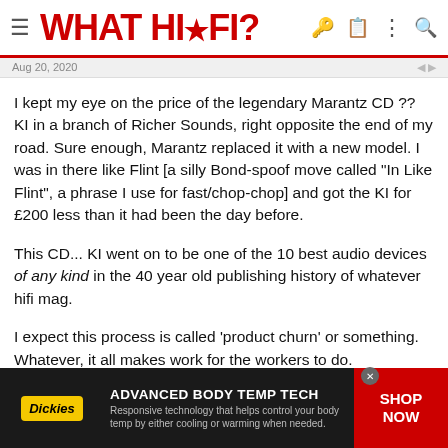WHAT HI-FI?
Aug 20, 2020
I kept my eye on the price of the legendary Marantz CD ?? KI in a branch of Richer Sounds, right opposite the end of my road. Sure enough, Marantz replaced it with a new model. I was in there like Flint [a silly Bond-spoof move called "In Like Flint", a phrase I use for fast/chop-chop] and got the KI for £200 less than it had been the day before.
This CD... KI went on to be one of the 10 best audio devices of any kind in the 40 year old publishing history of whatever hifi mag.
I expect this process is called 'product churn' or something. Whatever, it all makes work for the workers to do.
manicm
[Figure (screenshot): Dickies advertisement banner: ADVANCED BODY TEMP TECH - Responsive technology that helps control your body temp by either cooling or warming when needed. SHOP NOW]